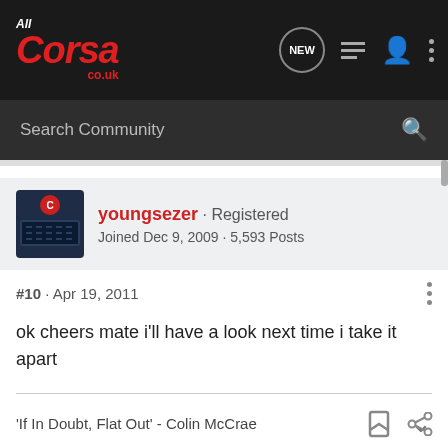All Corsa co.uk — navigation bar with search
youngsezer · Registered
Joined Dec 9, 2009 · 5,593 Posts
#10 · Apr 19, 2011
ok cheers mate i'll have a look next time i take it apart
'If In Doubt, Flat Out' - Colin McCrae